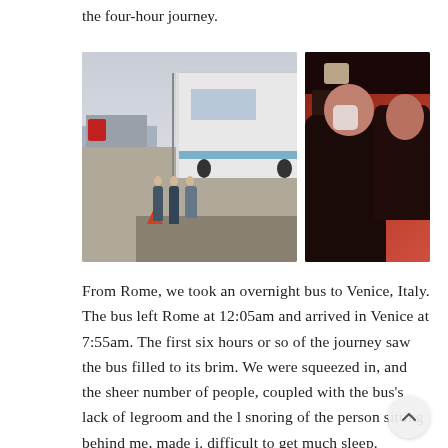the four-hour journey.
[Figure (photo): Two side-by-side photos. Left: Three people walking toward a white coach bus at a harbor/dock area with boats and a traffic cone visible. Right: Interior of a bus at night with passengers seated under red ambient lighting, some wearing masks.]
From Rome, we took an overnight bus to Venice, Italy. The bus left Rome at 12:05am and arrived in Venice at 7:55am. The first six hours or so of the journey saw the bus filled to its brim. We were squeezed in, and the sheer number of people, coupled with the bus's lack of legroom and the l snoring of the person sitting behind me, made it difficult to get much sleep. However, by the last